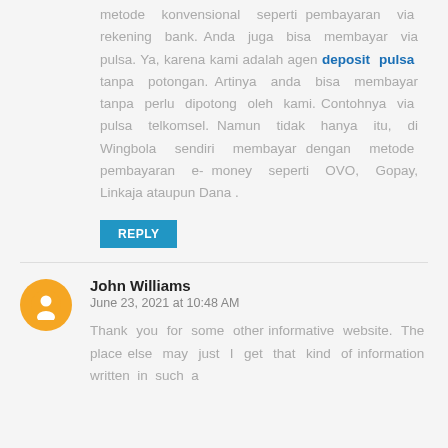metode konvensional seperti pembayaran via rekening bank. Anda juga bisa membayar via pulsa. Ya, karena kami adalah agen deposit pulsa tanpa potongan. Artinya anda bisa membayar tanpa perlu dipotong oleh kami. Contohnya via pulsa telkomsel. Namun tidak hanya itu, di Wingbola sendiri membayar dengan metode pembayaran e-money seperti OVO, Gopay, Linkaja ataupun Dana .
REPLY
John Williams
June 23, 2021 at 10:48 AM
Thank you for some other informative website. The place else may just I get that kind of information written in such a